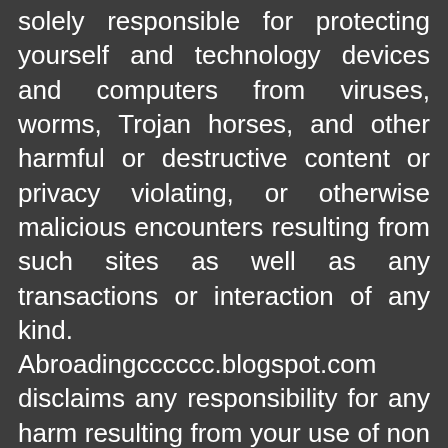solely responsible for protecting yourself and technology devices and computers from viruses, worms, Trojan horses, and other harmful or destructive content or privacy violating, or otherwise malicious encounters resulting from such sites as well as any transactions or interaction of any kind. Abroadingcccccc.blogspot.com disclaims any responsibility for any harm resulting from your use of non Abroadingcccccc.blogspot.com sites and pages.

As a user of this Web Site you are